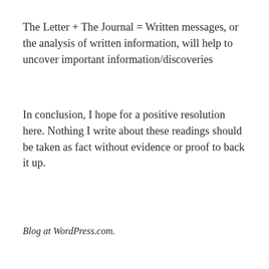The Letter + The Journal = Written messages, or the analysis of written information, will help to uncover important information/discoveries
In conclusion, I hope for a positive resolution here. Nothing I write about these readings should be taken as fact without evidence or proof to back it up.
Blog at WordPress.com.